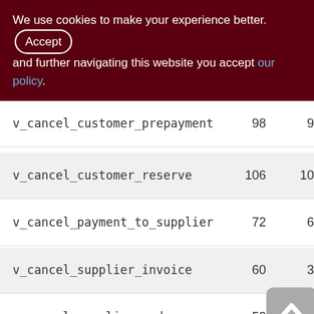We use cookies to make your experience better. By accepting and further navigating this website you accept our policy.
| Name | Col2 | Col3 |
| --- | --- | --- |
| v_cancel_customer_prepayment | 98 | 9 |
| v_cancel_customer_reserve | 106 | 10 |
| v_cancel_payment_to_supplier | 72 | 6 |
| v_cancel_supplier_invoice | 60 | 3 |
| v_cancel_supplier_order | 52 | 1 |
| v_cancel_write_off | 180 | 17 |